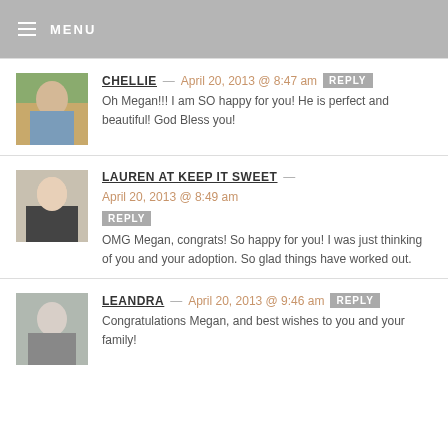MENU
CHELLIE — April 20, 2013 @ 8:47 am  REPLY
Oh Megan!!! I am SO happy for you! He is perfect and beautiful! God Bless you!
LAUREN AT KEEP IT SWEET — April 20, 2013 @ 8:49 am  REPLY
OMG Megan, congrats! So happy for you! I was just thinking of you and your adoption. So glad things have worked out.
LEANDRA — April 20, 2013 @ 9:46 am  REPLY
Congratulations Megan, and best wishes to you and your family!